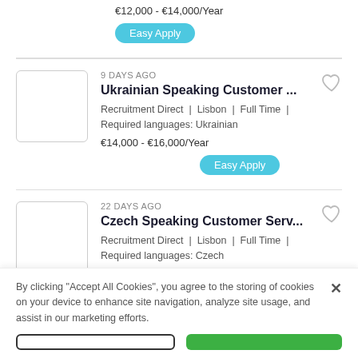Required languages: Polish
€12,000 - €14,000/Year
Easy Apply
9 DAYS AGO
Ukrainian Speaking Customer ...
Recruitment Direct | Lisbon | Full Time | Required languages: Ukrainian
€14,000 - €16,000/Year
Easy Apply
22 DAYS AGO
Czech Speaking Customer Serv...
Recruitment Direct | Lisbon | Full Time | Required languages: Czech
€12,000 - €14,000/Year
By clicking "Accept All Cookies", you agree to the storing of cookies on your device to enhance site navigation, analyze site usage, and assist in our marketing efforts.